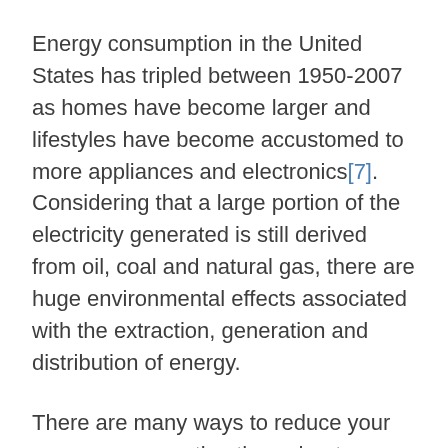Energy consumption in the United States has tripled between 1950-2007 as homes have become larger and lifestyles have become accustomed to more appliances and electronics[7]. Considering that a large portion of the electricity generated is still derived from oil, coal and natural gas, there are huge environmental effects associated with the extraction, generation and distribution of energy.
There are many ways to reduce your energy consumption throughout Ramadan. Turning the air conditioner on only when you are at home or [accessibility icon]ing will reduce greenhouse gas emissions and your energy bills. Closing open blinds,